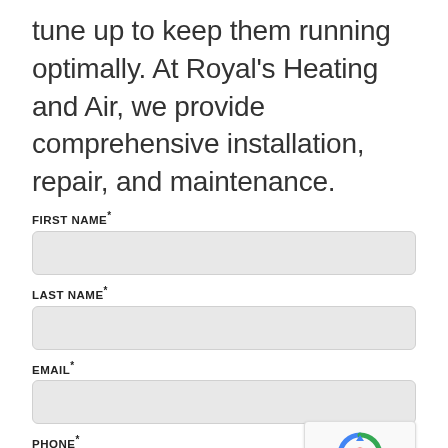tune up to keep them running optimally. At Royal's Heating and Air, we provide comprehensive installation, repair, and maintenance.
FIRST NAME*
LAST NAME*
EMAIL*
PHONE*